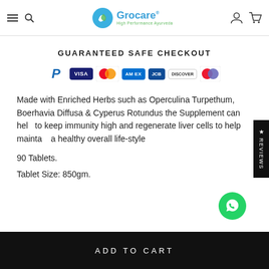[Figure (logo): Grocare logo with blue circular icon and text 'Grocare High Performance Ayurveda']
GUARANTEED SAFE CHECKOUT
[Figure (infographic): Payment method icons: PayPal, Visa, Mastercard, American Express, JCB, Discover, Maestro]
Made with Enriched Herbs such as Operculina Turpethum, Boerhavia Diffusa & Cyperus Rotundus the Supplement can help to keep immunity high and regenerate liver cells to help maintain a healthy overall life-style
90 Tablets.
Tablet Size: 850gm.
ADD TO CART